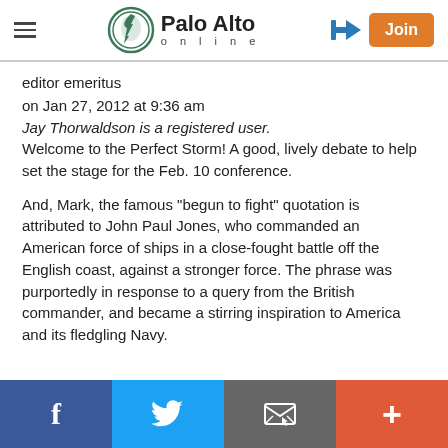Palo Alto online
editor emeritus
on Jan 27, 2012 at 9:36 am
Jay Thorwaldson is a registered user.
Welcome to the Perfect Storm! A good, lively debate to help set the stage for the Feb. 10 conference.
And, Mark, the famous "begun to fight" quotation is attributed to John Paul Jones, who commanded an American force of ships in a close-fought battle off the English coast, against a stronger force. The phrase was purportedly in response to a query from the British commander, and became a stirring inspiration to America and its fledgling Navy.
Facebook | Twitter | Email | +